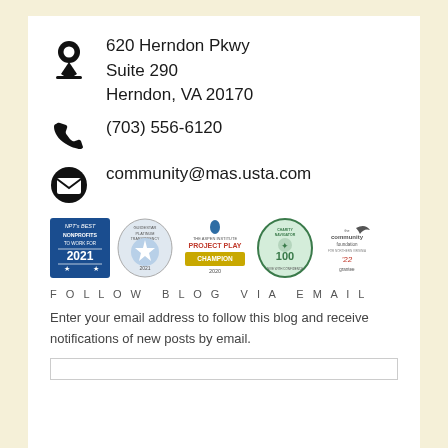620 Herndon Pkwy
Suite 290
Herndon, VA 20170
(703) 556-6120
community@mas.usta.com
[Figure (logo): Row of five badges/logos: NPT's Best Nonprofits to Work For 2021, GuideStar Platinum Transparency 2021, The Aspen Institute Project Play Champion 2020, Charity Navigator 100 Give With Confidence, The Community Foundation for Northern Virginia '22 Grantee]
FOLLOW BLOG VIA EMAIL
Enter your email address to follow this blog and receive notifications of new posts by email.